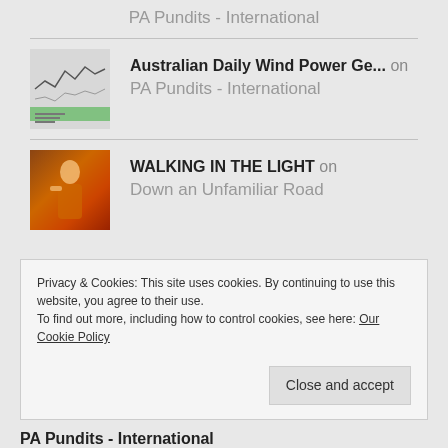PA Pundits - International
[Figure (other): Small thumbnail of a wind power chart with line graph and green bar]
Australian Daily Wind Power Ge... on
PA Pundits - International
[Figure (photo): Small thumbnail of a religious painting showing a robed figure]
WALKING IN THE LIGHT on
Down an Unfamiliar Road
Privacy & Cookies: This site uses cookies. By continuing to use this website, you agree to their use.
To find out more, including how to control cookies, see here: Our Cookie Policy
Close and accept
PA Pundits - International